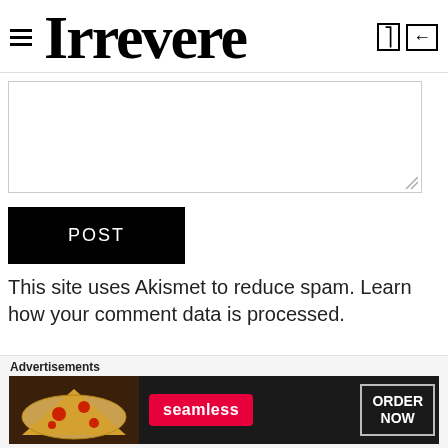Irrevere
[Figure (screenshot): Comment textarea input field, empty, with resize handle at bottom right]
[Figure (screenshot): POST button, black background with white text]
This site uses Akismet to reduce spam. Learn how your comment data is processed.
Advertisements
[Figure (photo): Seamless food delivery advertisement banner showing pizza with 'seamless' badge and 'ORDER NOW' button]